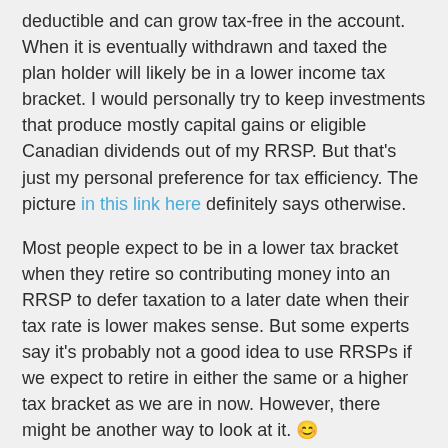deductible and can grow tax-free in the account. When it is eventually withdrawn and taxed the plan holder will likely be in a lower income tax bracket. I would personally try to keep investments that produce mostly capital gains or eligible Canadian dividends out of my RRSP. But that's just my personal preference for tax efficiency. The picture in this link here definitely says otherwise.
Most people expect to be in a lower tax bracket when they retire so contributing money into an RRSP to defer taxation to a later date when their tax rate is lower makes sense. But some experts say it's probably not a good idea to use RRSPs if we expect to retire in either the same or a higher tax bracket as we are in now. However, there might be another way to look at it. 😊
[Figure (photo): Partial photo of a person's hands holding a teal/dark green ceramic pot or vessel, cropped at bottom of page]